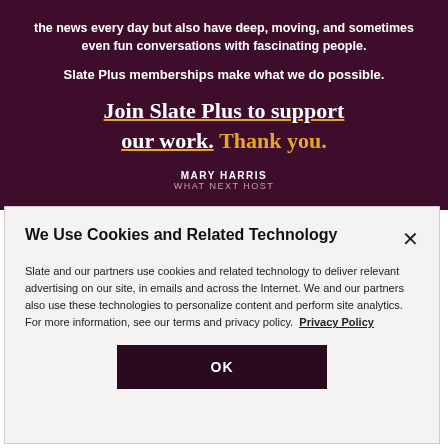the news every day but also have deep, moving, and sometimes even fun conversations with fascinating people.
Slate Plus memberships make what we do possible.
Join Slate Plus to support our work. Thank you.
MARY HARRIS
WHAT NEXT HOST
We Use Cookies and Related Technology
Slate and our partners use cookies and related technology to deliver relevant advertising on our site, in emails and across the Internet. We and our partners also use these technologies to personalize content and perform site analytics. For more information, see our terms and privacy policy. Privacy Policy
OK